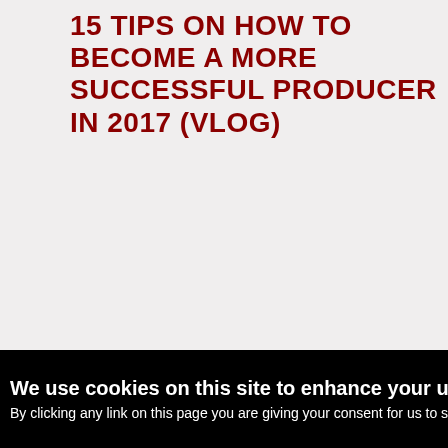15 TIPS ON HOW TO BECOME A MORE SUCCESSFUL PRODUCER IN 2017 (VLOG)
We use cookies on this site to enhance your user experience. By clicking any link on this page you are giving your consent for us to set cookies.